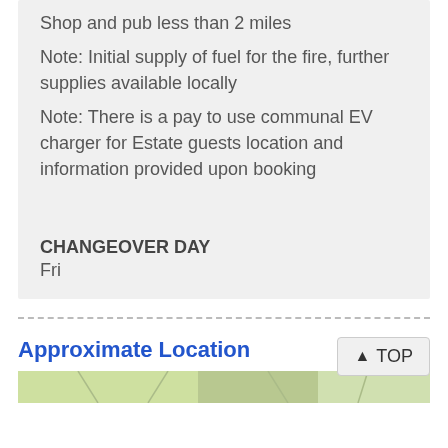Shop and pub less than 2 miles
Note: Initial supply of fuel for the fire, further supplies available locally
Note: There is a pay to use communal EV charger for Estate guests location and information provided upon booking
CHANGEOVER DAY
Fri
Approximate Location
[Figure (map): Map showing approximate location, partial view at bottom of page]